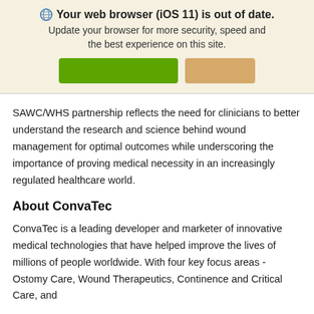[Figure (screenshot): Browser update banner with globe icon, bold title 'Your web browser (iOS 11) is out of date.', subtitle text, a green button and a tan/orange button.]
SAWC/WHS partnership reflects the need for clinicians to better understand the research and science behind wound management for optimal outcomes while underscoring the importance of proving medical necessity in an increasingly regulated healthcare world.
About ConvaTec
ConvaTec is a leading developer and marketer of innovative medical technologies that have helped improve the lives of millions of people worldwide. With four key focus areas - Ostomy Care, Wound Therapeutics, Continence and Critical Care, and